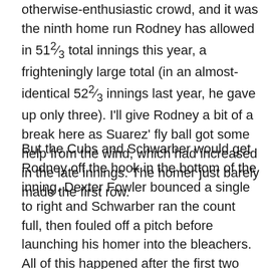otherwise-enthusiastic crowd, and it was the ninth home run Rodney has allowed in 51⅔ total innings this year, a frighteningly large total (in an almost-identical 52⅔ innings last year, he gave up only three). I'll give Rodney a bit of a break here as Suarez' fly ball got some help from the wind, which had increased in the late innings. The homer just barely made the first row.
But the Cubs and Schwarber would get Rodney off the hook in the bottom of the inning. Dexter Fowler bounced a single to right and Schwarber ran the count full, then fouled off a pitch before launching his homer into the bleachers. All of this happened after the first two hitters in the inning made routine outs. Schwarber's homer was his 13th in just 163 at-bats; only seven rookies have more despite all of them except the Twins' Miguel Sano having at least 100